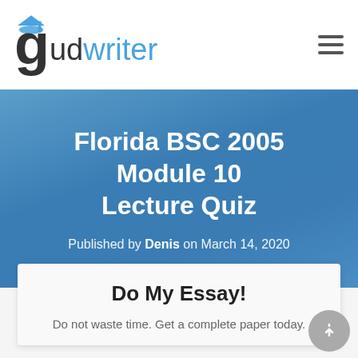gudwriter
Florida BSC 2005 Module 10 Lecture Quiz
Published by Denis on March 14, 2020
Do My Essay!
Do not waste time. Get a complete paper today.